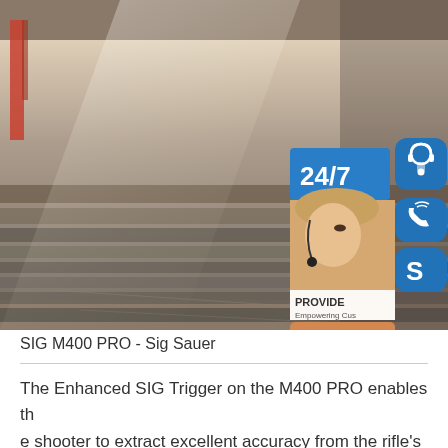[Figure (photo): Photo of stacked steel plates in an industrial warehouse/facility, with a semi-transparent overlay showing a 24/7 customer service panel with a woman wearing a headset, three blue icon badges (headset/person, phone, Skype 'S'), and an 'online live' button. Text overlay reads '24/7', 'PROVIDE', 'Empowering Cus', 'online live'.]
SIG M400 PRO - Sig Sauer
The Enhanced SIG Trigger on the M400 PRO enables the shooter to extract excellent accuracy from the rifle's ligh